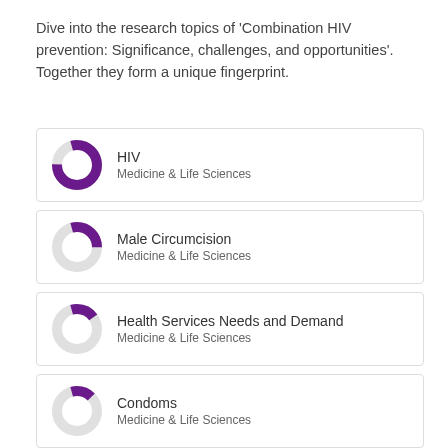Dive into the research topics of 'Combination HIV prevention: Significance, challenges, and opportunities'. Together they form a unique fingerprint.
HIV
Medicine & Life Sciences
Male Circumcision
Medicine & Life Sciences
Health Services Needs and Demand
Medicine & Life Sciences
Condoms
Medicine & Life Sciences
Risk Reduction Behavior
Medicine & Life Sciences